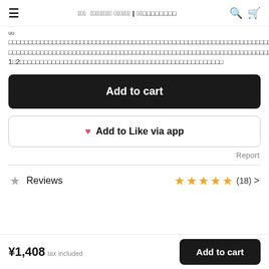≡  ??? ???????? ?????? | ??????????  🔍  🛒
uu
????????????????????????????????????????????????????????????????????????????????????????????(≈42°C) ???????????????????????????????????????????????????????????????????????????????????????????? 1?2???????????????????????????????????????????????????????????????????????????????
Add to cart
♥ Add to Like via app
Report
Reviews  ★★★★★ (18) >
¥1,408  tax included
Add to cart